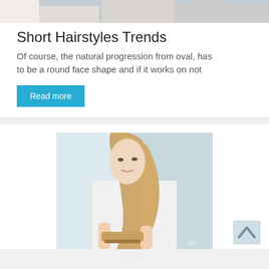[Figure (photo): Partial top image of hairstyle-related photo, cropped at top of page]
Short Hairstyles Trends
Of course, the natural progression from oval, has to be a round face shape and if it works on not
Read more
[Figure (photo): Young woman with long blonde hair brushing it with a hairbrush, wrapped in a white towel, bathroom background]